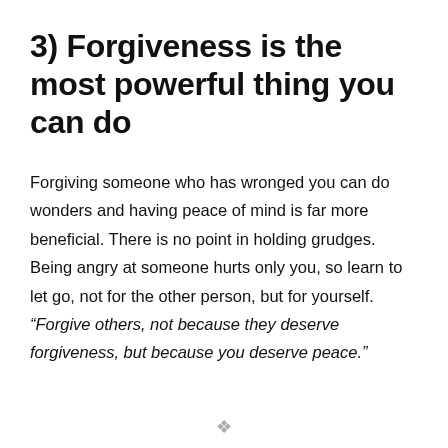3) Forgiveness is the most powerful thing you can do
Forgiving someone who has wronged you can do wonders and having peace of mind is far more beneficial. There is no point in holding grudges. Being angry at someone hurts only you, so learn to let go, not for the other person, but for yourself. “Forgive others, not because they deserve forgiveness, but because you deserve peace.”